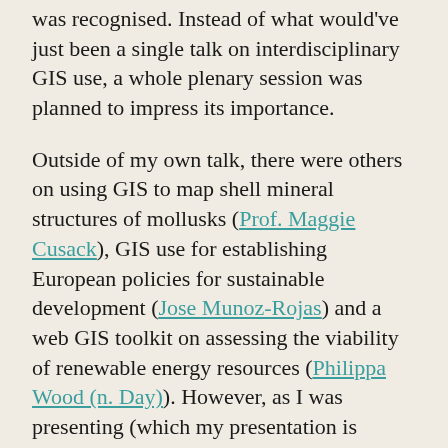was recognised. Instead of what would've just been a single talk on interdisciplinary GIS use, a whole plenary session was planned to impress its importance.
Outside of my own talk, there were others on using GIS to map shell mineral structures of mollusks (Prof. Maggie Cusack), GIS use for establishing European policies for sustainable development (Jose Munoz-Rojas) and a web GIS toolkit on assessing the viability of renewable energy resources (Philippa Wood (n. Day)). However, as I was presenting (which my presentation is available on Slideshare, should you wish to review it), I could see that some researchers were slightly “switching off”; these sorts of topics may not be of interest to some more disciplinary focused researchers (applications of GIS in Biology, and could